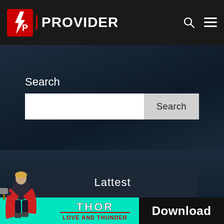OP PROVIDER
Search
Search (button)
Lattest
[Figure (screenshot): Thor: Love and Thunder advertisement banner with cyan background, Thor character on left, Thor Love and Thunder logo in center, and Download button on right]
Download